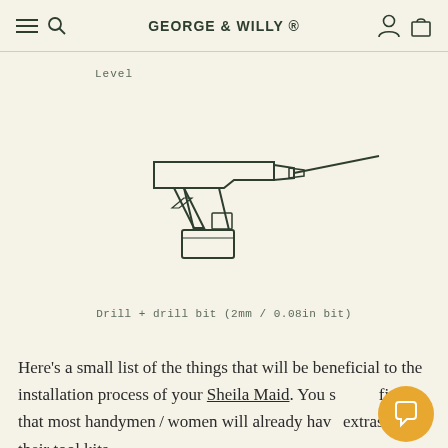GEORGE & WILLY ®
Level
[Figure (illustration): Line drawing of a cordless drill with a long drill bit extending to the right]
Drill + drill bit (2mm / 0.08in bit)
Here's a small list of the things that will be beneficial to the installation process of your Sheila Maid. You should find that most handymen/women will already have extras in their tool kits.